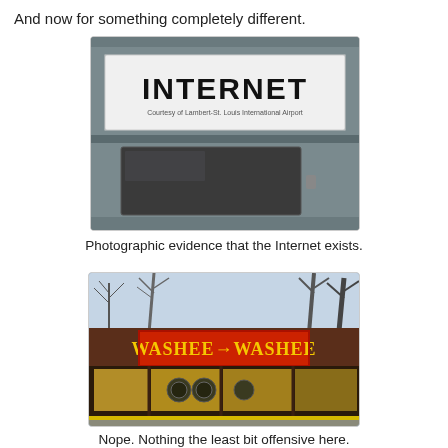And now for something completely different.
[Figure (photo): Photo of an Internet kiosk terminal at Lambert-St. Louis International Airport. The machine has a large white panel with bold black text reading INTERNET and a smaller line underneath reading 'Courtesy of Lambert-St. Louis International Airport'. Below is a dark screen area.]
Photographic evidence that the Internet exists.
[Figure (photo): Photo of a laundromat storefront with a red sign reading 'WASHEE WASHEE' with an arrow between the two words, in yellow lettering on a red background. The storefront shows windows revealing laundry machines inside, with bare winter trees visible above.]
Nope. Nothing the least bit offensive here.